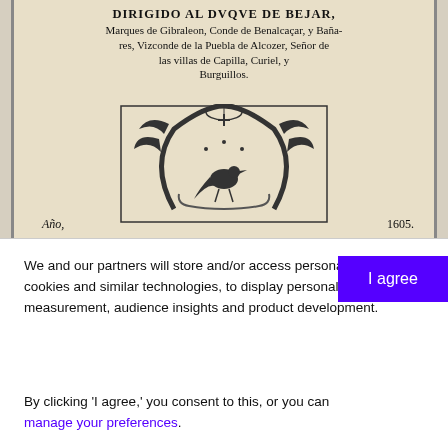[Figure (illustration): Scanned page from a 1605 Spanish book dedication, showing old typeface text 'DIRIGIDO AL DVQVE DE BEJAR, Marques de Gibraleon, Conde de Benalcaçar, y Bañares, Vizconde de la Puebla de Alcozer, Señor de las villas de Capilla, Curiel, y Burguillos.' with a decorative emblem/woodcut illustration featuring a horseshoe, bird, and floral ornaments. Below the emblem: 'Año,' on the left and '1605.' on the right.]
We and our partners will store and/or access personal data on your device through the use of cookies and similar technologies, to display personalised ads, for ad and content measurement, audience insights and product development.
By clicking 'I agree,' you consent to this, or you can manage your preferences.